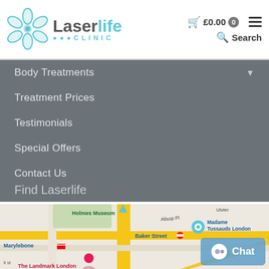[Figure (logo): Laserlife Clinic logo with teal flower/leaf icon and grey text]
£0.00  0
Body Treatments
Treatment Prices
Testimonials
Special Offers
Contact Us
Find Laserlife
[Figure (map): Google Maps screenshot showing Baker Street area in London, with markers for Madame Tussauds London, The Landmark London, Marylebone station, Holmes Museum, and Baker Street underground station. A501 road visible.]